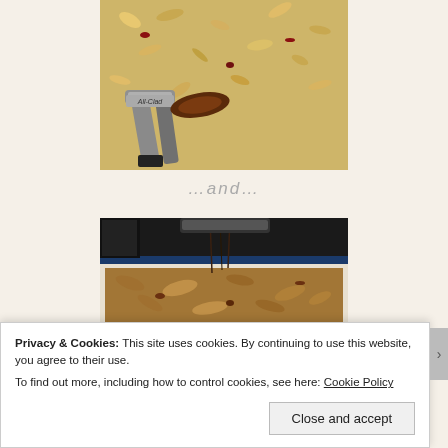[Figure (photo): Close-up photo of granola mixture on a baking sheet being stirred with All-Clad tongs]
…and…
[Figure (photo): Photo of baked/toasted granola on a baking sheet with sauce being drizzled from above]
Privacy & Cookies: This site uses cookies. By continuing to use this website, you agree to their use.
To find out more, including how to control cookies, see here: Cookie Policy
Close and accept